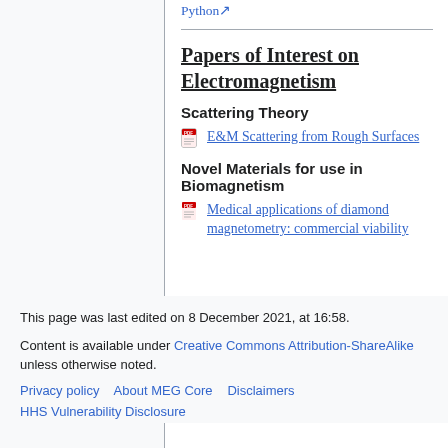Papers of Interest on Electromagnetism
Scattering Theory
E&M Scattering from Rough Surfaces
Novel Materials for use in Biomagnetism
Medical applications of diamond magnetometry: commercial viability
This page was last edited on 8 December 2021, at 16:58. Content is available under Creative Commons Attribution-ShareAlike unless otherwise noted. Privacy policy · About MEG Core · Disclaimers · HHS Vulnerability Disclosure